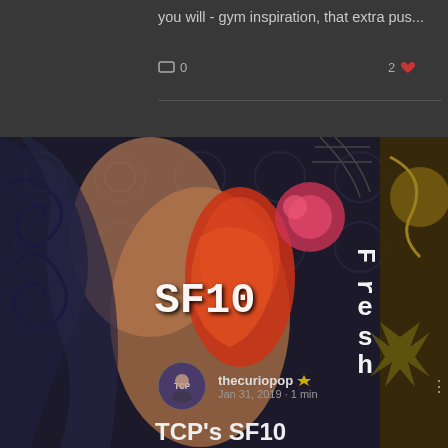you will - gym inspiration, that extra pus...
0   2 ♥
[Figure (photo): Close-up photo of a person with extensive tattoo sleeve artwork covering their arm and torso, showing colorful Japanese-style tattoos with koi fish, flowers, and geometric patterns. Overlaid text reads 'SF10' and 'Fresh' in white monospace font.]
thecuriopop 👑
Jan 31, 2019 · 1 min
TCP's SF10